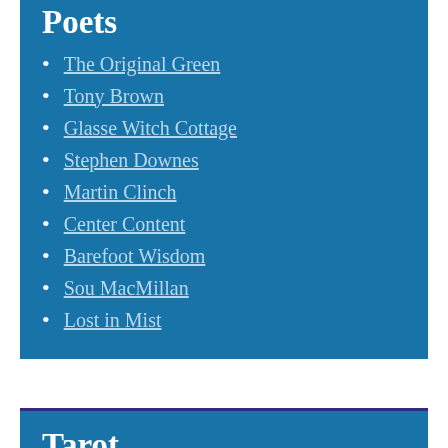Poets
The Original Green
Tony Brown
Glasse Witch Cottage
Stephen Downes
Martin Clinch
Center Content
Barefoot Wisdom
Sou MacMillan
Lost in Mist
Tarot
T. Susan Chang